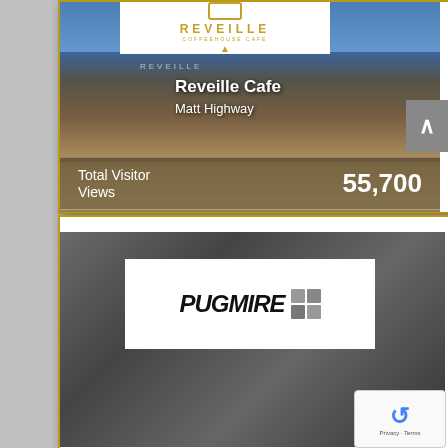[Figure (screenshot): Reveille Coffeehouse Cafe card showing logo, building photo with name overlay 'Reveille Cafe / Matt Highway', Total Visitor Views: 55,700, Views Last Month: 4,300]
Reveille Cafe
Matt Highway
Total Visitor Views  55,700
Views Last Month  4,300
[Figure (screenshot): Pugmire automotive dealership card showing logo with panther graphic against dark background]